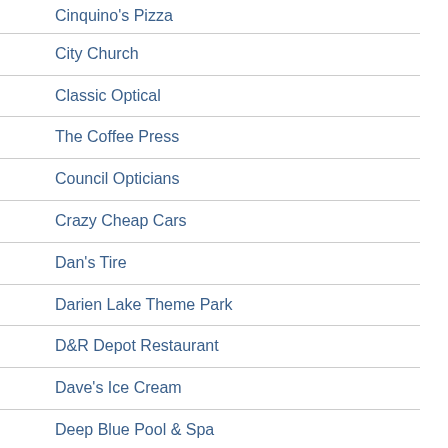Cinquino's Pizza
City Church
Classic Optical
The Coffee Press
Council Opticians
Crazy Cheap Cars
Dan's Tire
Darien Lake Theme Park
D&R Depot Restaurant
Dave's Ice Cream
Deep Blue Pool & Spa
Dolce Panepinto Attorneys At Law
Dumbleton's Used Auto Parts
Eden Cafe & Bakeshop
Eli Fish Brewing Co.
Erie East Windows & Doors
Falcone Family Funeral & Cremation Service Inc.